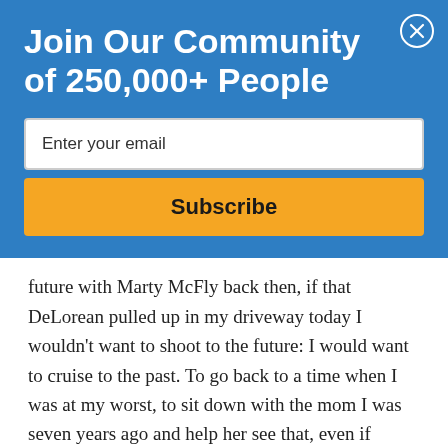Join Our Community of 250,000+ People
Enter your email
Subscribe
future with Marty McFly back then, if that DeLorean pulled up in my driveway today I wouldn't want to shoot to the future: I would want to cruise to the past. To go back to a time when I was at my worst, to sit down with the mom I was seven years ago and help her see that, even if Marty McFly rode up in his DeLorean to show me how it all turns out, the future was not where I was supposed to be. Even though I would have loved just a tiny glimpse of what was to come, the present is